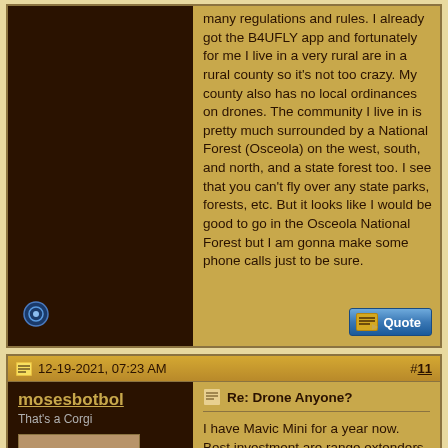many regulations and rules. I already got the B4UFLY app and fortunately for me I live in a very rural are in a rural county so it's not too crazy. My county also has no local ordinances on drones. The community I live in is pretty much surrounded by a National Forest (Osceola) on the west, south, and north, and a state forest too. I see that you can't fly over any state parks, forests, etc. But it looks like I would be good to go in the Osceola National Forest but I am gonna make some phone calls just to be sure.
12-19-2021, 07:23 AM
#11
mosesbotbol
That's a Corgi
[Figure (photo): Avatar photo of a Corgi dog, brown and white, looking at camera]
Re: Drone Anyone?
I have Mavic Mini for a year now. Best investment are range extenders for the handset. One fun thing to try is sending the drone straight up on a low cloudy day. Best in the morning and get above the clouds.